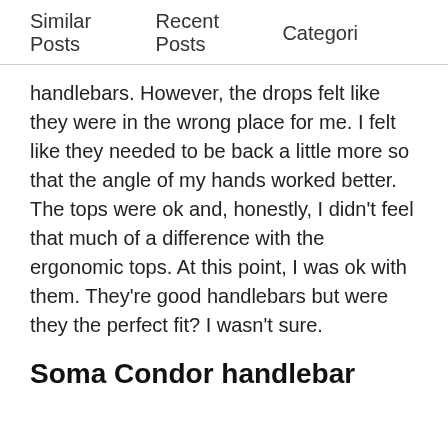Similar Posts   Recent Posts   Categori
handlebars. However, the drops felt like they were in the wrong place for me. I felt like they needed to be back a little more so that the angle of my hands worked better. The tops were ok and, honestly, I didn't feel that much of a difference with the ergonomic tops. At this point, I was ok with them. They're good handlebars but were they the perfect fit? I wasn't sure.
Soma Condor handlebar